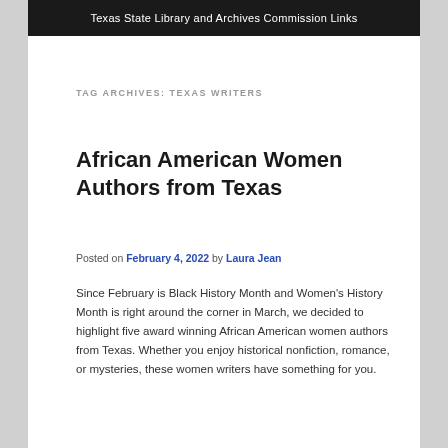Texas State Library and Archives Commission Links
TAG ARCHIVES: TEXAS WRITERS
African American Women Authors from Texas
Posted on February 4, 2022 by Laura Jean
Since February is Black History Month and Women's History Month is right around the corner in March, we decided to highlight five award winning African American women authors from Texas. Whether you enjoy historical nonfiction, romance, or mysteries, these women writers have something for you.
Reshonda Tate Billingsley